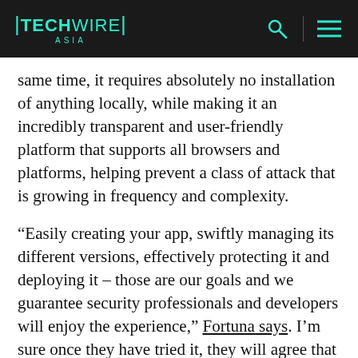TECHWIRE ASIA
same time, it requires absolutely no installation of anything locally, while making it an incredibly transparent and user-friendly platform that supports all browsers and platforms, helping prevent a class of attack that is growing in frequency and complexity.
“Easily creating your app, swiftly managing its different versions, effectively protecting it and deploying it – those are our goals and we guarantee security professionals and developers will enjoy the experience,” Fortuna says. I’m sure once they have tried it, they will agree that Jscrambler has emphatically fulfilled these objectives while